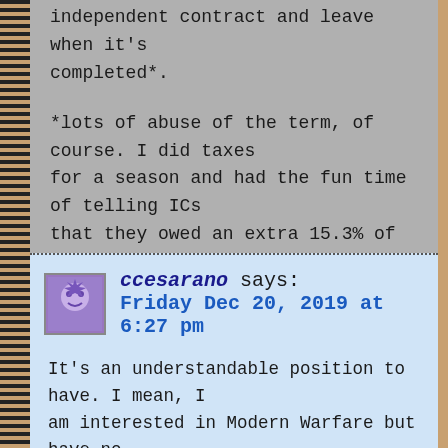independent contract and leave when it's completed*.
*lots of abuse of the term, of course. I did taxes for a season and had the fun time of telling ICs that they owed an extra 15.3% of profit as self-employment taxes.
Reply
ccesarano says: Friday Dec 20, 2019 at 6:27 pm
It's an understandable position to have. I mean, I am interested in Modern Warfare but have no interest in paying for it since I don't want my dollars to count as a complicit vote for delayed microtransactions outside the review window. Similarly, after Bethesda's 2019, I no longer trust DOOM Eternal to be a day one purchase. I'll have